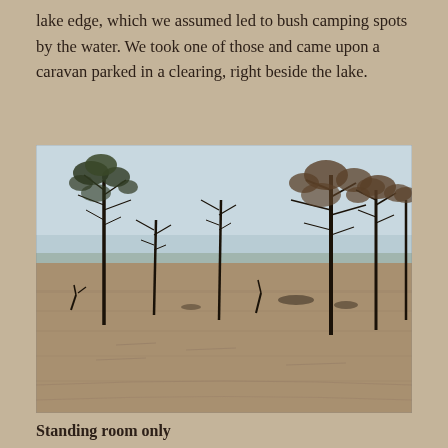lake edge, which we assumed led to bush camping spots by the water. We took one of those and came upon a caravan parked in a clearing, right beside the lake.
[Figure (photo): Flooded lake with dead and living trees standing in muddy brown water under a pale blue sky. The scene shows an Australian outback lake in flood with several submerged trees and bare branches visible across the wide expanse of water.]
Standing room only